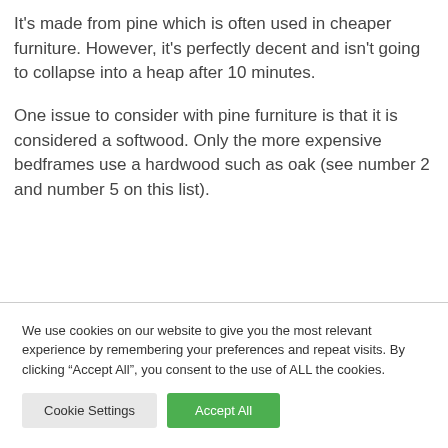It's made from pine which is often used in cheaper furniture. However, it's perfectly decent and isn't going to collapse into a heap after 10 minutes.
One issue to consider with pine furniture is that it is considered a softwood. Only the more expensive bedframes use a hardwood such as oak (see number 2 and number 5 on this list).
We use cookies on our website to give you the most relevant experience by remembering your preferences and repeat visits. By clicking “Accept All”, you consent to the use of ALL the cookies.